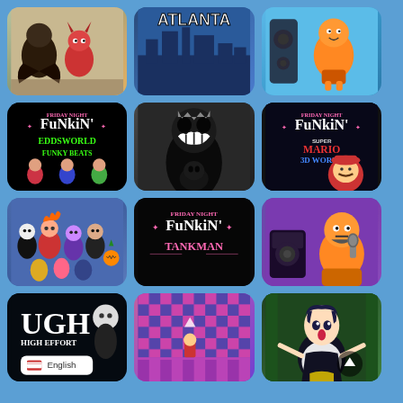[Figure (screenshot): Grid of 12 Friday Night Funkin game mod thumbnails on a blue background. Row 1: cartoon characters game, Atlanta-themed FNF mod, orange character game. Row 2: FNF Eddsworld Funky Beats mod (pink/green logo on black), dark spooky character mod, FNF Super Mario 3D World mod. Row 3: group of FNF characters mod, FNF Tankman mod (pink text on black), FNF character with microphone on purple. Row 4: UGH High Effort mod (black with English language badge), pink/purple checkerboard level mod, anime character mod with scroll button.]